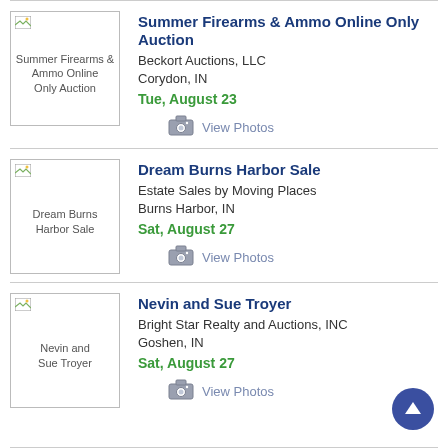[Figure (other): Thumbnail image placeholder for Summer Firearms & Ammo Online Only Auction]
Summer Firearms & Ammo Online Only Auction
Beckort Auctions, LLC
Corydon, IN
Tue, August 23
View Photos
[Figure (other): Thumbnail image placeholder for Dream Burns Harbor Sale]
Dream Burns Harbor Sale
Estate Sales by Moving Places
Burns Harbor, IN
Sat, August 27
View Photos
[Figure (other): Thumbnail image placeholder for Nevin and Sue Troyer]
Nevin and Sue Troyer
Bright Star Realty and Auctions, INC
Goshen, IN
Sat, August 27
View Photos